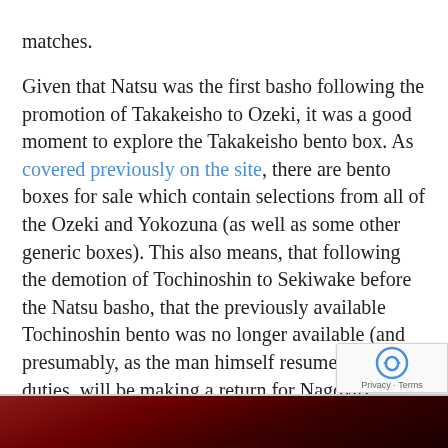matches.
Given that Natsu was the first basho following the promotion of Takakeisho to Ozeki, it was a good moment to explore the Takakeisho bento box. As covered previously on the site, there are bento boxes for sale which contain selections from all of the Ozeki and Yokozuna (as well as some other generic boxes). This also means, that following the demotion of Tochinoshin to Sekiwake before the Natsu basho, that the previously available Tochinoshin bento was no longer available (and presumably, as the man himself resumes Ozeki duties, will be making a return for Nagoya)
[Figure (photo): Partial view of a red-toned image at the bottom of the page, likely related to sumo or Japanese culture]